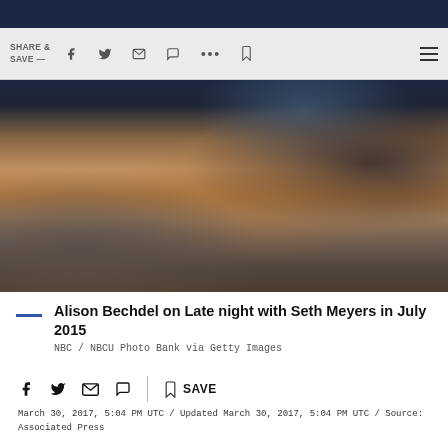SHARE & SAVE —
[Figure (photo): Photo of Alison Bechdel on Late Night with Seth Meyers set, showing a wooden desk/table in the foreground with items on it, people seated, and a dark studio background]
Alison Bechdel on Late night with Seth Meyers in July 2015
NBC / NBCU Photo Bank via Getty Images
March 30, 2017, 5:04 PM UTC / Updated March 30, 2017, 5:04 PM UTC / Source: Associated Press